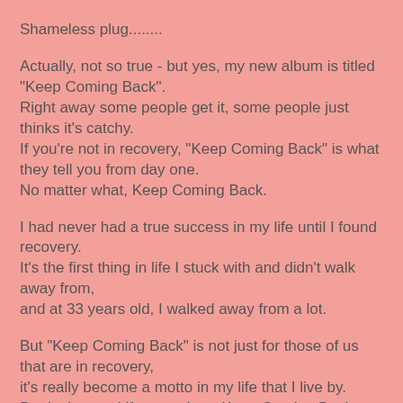Shameless plug........
Actually, not so true - but yes, my new album is titled "Keep Coming Back".
Right away some people get it, some people just thinks it's catchy.
If you're not in recovery, "Keep Coming Back" is what they tell you from day one.
No matter what, Keep Coming Back.
I had never had a true success in my life until I found recovery.
It's the first thing in life I stuck with and didn't walk away from,
and at 33 years old, I walked away from a lot.
But "Keep Coming Back" is not just for those of us that are in recovery,
it's really become a motto in my life that I live by.
Don't give up, Lifes too short, Keep Coming Back.